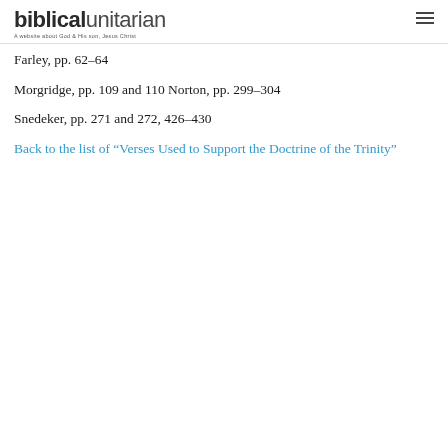biblical unitarian — A website about God & His son, Jesus Christ
Farley, pp. 62–64
Morgridge, pp. 109 and 110 Norton, pp. 299–304
Snedeker, pp. 271 and 272, 426–430
Back to the list of “Verses Used to Support the Doctrine of the Trinity”